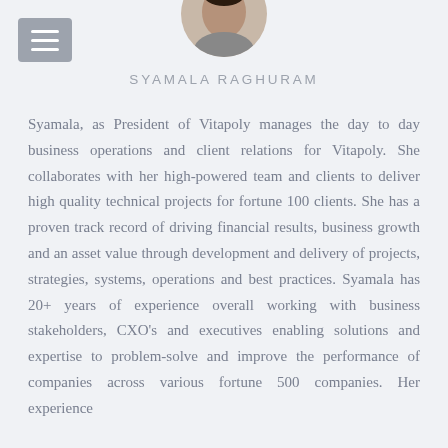[Figure (photo): Circular cropped profile photo of Syamala Raghuram, partially visible at top of page]
SYAMALA RAGHURAM
Syamala, as President of Vitapoly manages the day to day business operations and client relations for Vitapoly. She collaborates with her high-powered team and clients to deliver high quality technical projects for fortune 100 clients. She has a proven track record of driving financial results, business growth and an asset value through development and delivery of projects, strategies, systems, operations and best practices. Syamala has 20+ years of experience overall working with business stakeholders, CXO's and executives enabling solutions and expertise to problem-solve and improve the performance of companies across various fortune 500 companies. Her experience